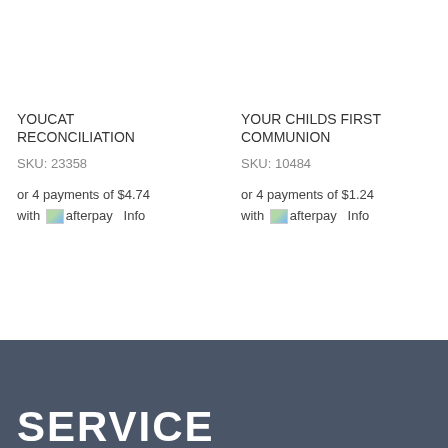YOUCAT RECONCILIATION
SKU: 23358
or 4 payments of $4.74 with afterpay  Info
YOUR CHILDS FIRST COMMUNION
SKU: 10484
or 4 payments of $1.24 with afterpay  Info
SERVICE